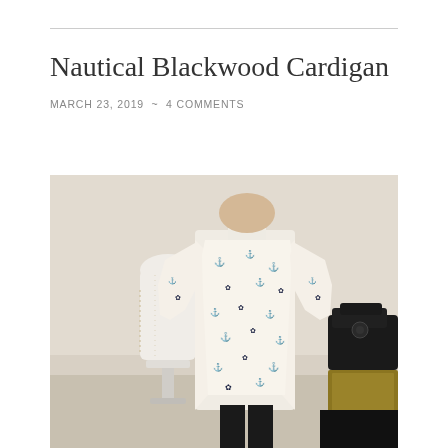Nautical Blackwood Cardigan
MARCH 23, 2019  ~  4 COMMENTS
[Figure (photo): A person wearing a white nautical-themed cardigan with navy blue anchor and rope prints, standing in front of a dress form mannequin with a measuring tape draped over it. A vintage black sewing machine is visible on the right side.]